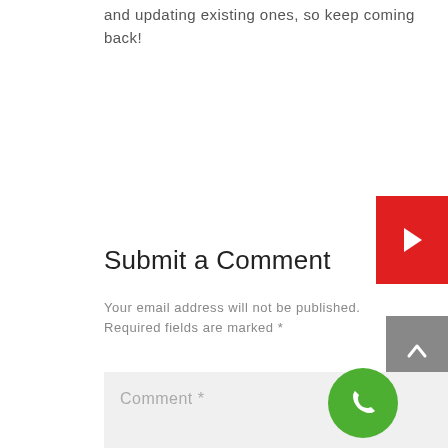and updating existing ones, so keep coming back!
Submit a Comment
Your email address will not be published. Required fields are marked *
Comment *